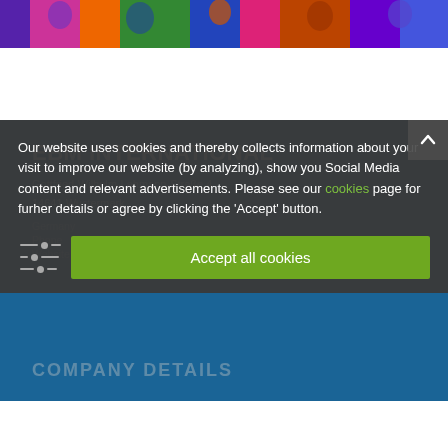[Figure (photo): Colorful photo strip showing people in purple, red, orange, green clothing at the top of the page]
EBM INTERNATIONAL
Gottfried-Wilhelm-Lehmann-Straße 4
14641 Wustermark
Our website uses cookies and thereby collects information about your visit to improve our website (by analyzing), show you Social Media content and relevant advertisements. Please see our cookies page for furher details or agree by clicking the 'Accept' button.
Accept all cookies
COMPANY DETAILS